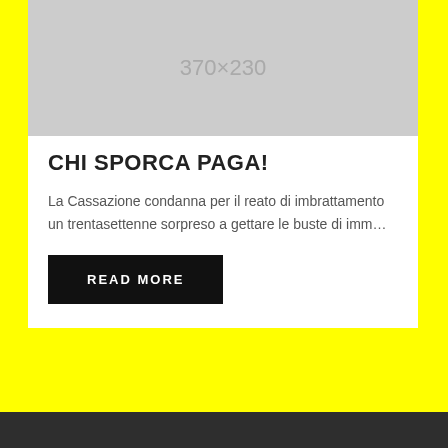[Figure (other): Gray placeholder image showing dimensions 370×230]
CHI SPORCA PAGA!
La Cassazione condanna per il reato di imbrattamento un trentasettenne sorpreso a gettare le buste di imm…
READ MORE